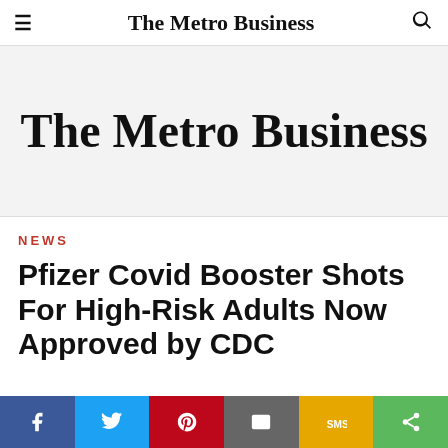The Metro Business
[Figure (logo): The Metro Business logo displayed on a light gray banner background]
NEWS
Pfizer Covid Booster Shots For High-Risk Adults Now Approved by CDC